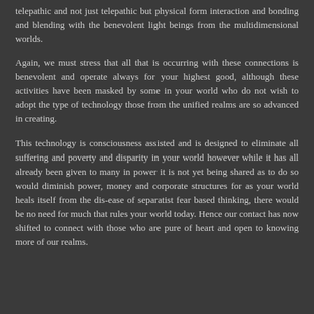telepathic and not just telepathic but physical form interaction and bonding and blending with the benevolent light beings from the multidimensional worlds.
Again, we must stress that all that is occurring with these connections is benevolent and operate always for your highest good, although these activities have been masked by some in your world who do not wish to adopt the type of technology those from the unified realms are so advanced in creating.
This technology is consciousness assisted and is designed to eliminate all suffering and poverty and disparity in your world however while it has all already been given to many in power it is not yet being shared as to do so would diminish power, money and corporate structures for as your world heals itself from the dis-ease of separatist fear based thinking, there would be no need for much that rules your world today. Hence our contact has now shifted to connect with those who are pure of heart and open to knowing more of our realms.